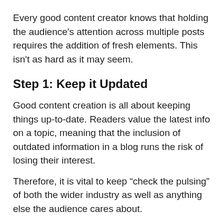Every good content creator knows that holding the audience's attention across multiple posts requires the addition of fresh elements. This isn't as hard as it may seem.
Step 1: Keep it Updated
Good content creation is all about keeping things up-to-date. Readers value the latest info on a topic, meaning that the inclusion of outdated information in a blog runs the risk of losing their interest.
Therefore, it is vital to keep “check the pulsing” of both the wider industry as well as anything else the audience cares about.